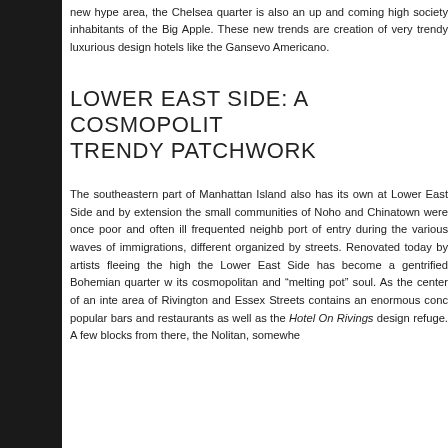new hype area, the Chelsea quarter is also an up and coming high society inhabitants of the Big Apple. These new trends are creation of very trendy luxurious design hotels like the Gansevo Americano.
LOWER EAST SIDE: A COSMOPOLIT TRENDY PATCHWORK
The southeastern part of Manhattan Island also has its own at Lower East Side and by extension the small communities of Noho and Chinatown were once poor and often ill frequented neighb port of entry during the various waves of immigrations, different organized by streets. Renovated today by artists fleeing the high the Lower East Side has become a gentrified Bohemian quarter w its cosmopolitan and “melting pot” soul. As the center of an inte area of Rivington and Essex Streets contains an enormous conc popular bars and restaurants as well as the Hotel On Rivings design refuge. A few blocks from there, the Nolitan, somewhe